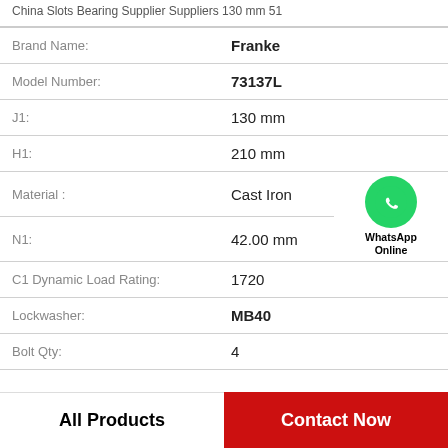China Slots Bearing Supplier Suppliers 130 mm 51
| Attribute | Value |
| --- | --- |
| Brand Name: | Franke |
| Model Number: | 73137L |
| J1: | 130 mm |
| H1: | 210 mm |
| Material : | Cast Iron |
| N1: | 42.00 mm |
| C1 Dynamic Load Rating: | 1720 |
| Lockwasher: | MB40 |
| Bolt Qty: | 4 |
[Figure (logo): WhatsApp contact button with green phone icon and text 'WhatsApp Online']
All Products
Contact Now